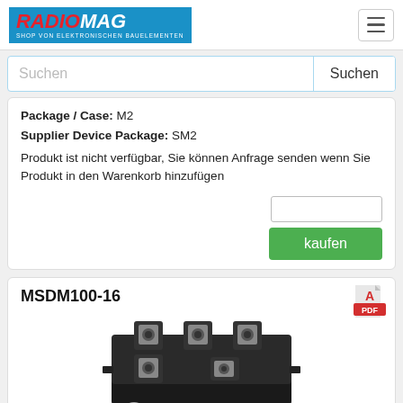[Figure (logo): Radiomag logo - blue background with red RADIO and white MAG text, subtitle SHOP VON ELEKTRONISCHEN BAUELEMENTEN]
Package / Case: M2
Supplier Device Package: SM2
Produkt ist nicht verfügbar, Sie können Anfrage senden wenn Sie Produkt in den Warenkorb hinzufügen
kaufen
MSDM100-16
[Figure (photo): Photo of MSDM100-16 electronic power module (black rectangular component with metal terminals) and screws]